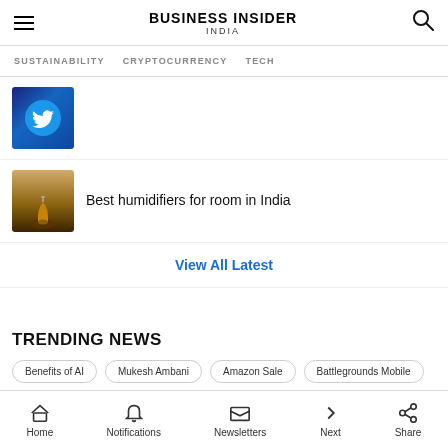BUSINESS INSIDER INDIA
SUSTAINABILITY  CRYPTOCURRENCY  TECH
[Figure (photo): Thumbnail image with dark blue background (Twitter logo area)]
Best humidifiers for room in India
[Figure (photo): Thumbnail of a wooden humidifier/diffuser]
View All Latest
TRENDING NEWS
Benefits of AI
Mukesh Ambani
Amazon Sale
Battlegrounds Mobile
Nothing P...
[Figure (screenshot): Walgreens advertisement banner: Shop Now For Essentials - Walgreens Photo]
Home  Notifications  Newsletters  Next  Share